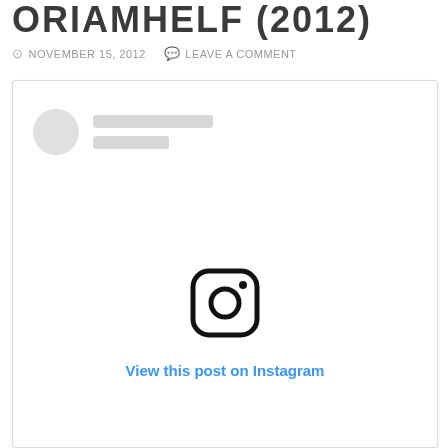ORIAMHELF (2012)
NOVEMBER 15, 2012   LEAVE A COMMENT
[Figure (screenshot): Instagram embedded post placeholder card with profile avatar placeholder, name placeholder lines, Instagram camera logo icon, and 'View this post on Instagram' link in blue text.]